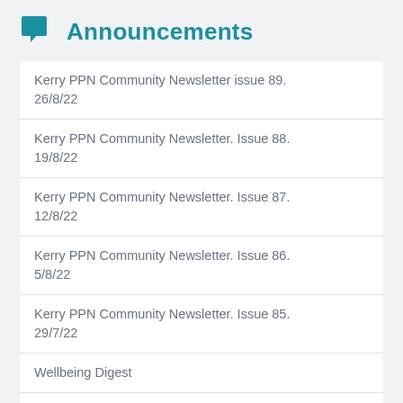Announcements
Kerry PPN Community Newsletter issue 89. 26/8/22
Kerry PPN Community Newsletter. Issue 88. 19/8/22
Kerry PPN Community Newsletter. Issue 87. 12/8/22
Kerry PPN Community Newsletter. Issue 86. 5/8/22
Kerry PPN Community Newsletter. Issue 85. 29/7/22
Wellbeing Digest
Kerry PPN Community Newsletter. Issue 84. 22/7/22